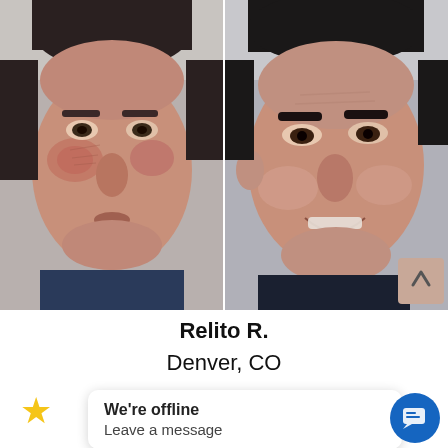[Figure (photo): Before and after comparison photos of a man named Relito R. Left photo shows face with redness and skin texture issues. Right photo shows the same man smiling with improved skin appearance.]
Relito R.
Denver, CO
★
We're offline
Leave a message